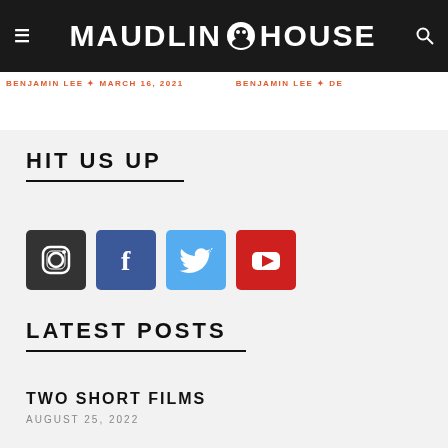MAUDLIN HOUSE
BENJAMIN LEE ✦ MARCH 16, 2021   BENJAMIN LEE ✦ DE
HIT US UP
[Figure (screenshot): Social media icons: Instagram, Facebook, Twitter, YouTube]
LATEST POSTS
TWO SHORT FILMS
AUGUST 25, 2022